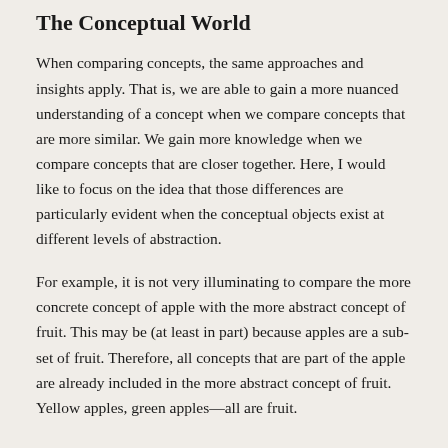The Conceptual World
When comparing concepts, the same approaches and insights apply. That is, we are able to gain a more nuanced understanding of a concept when we compare concepts that are more similar. We gain more knowledge when we compare concepts that are closer together. Here, I would like to focus on the idea that those differences are particularly evident when the conceptual objects exist at different levels of abstraction.
For example, it is not very illuminating to compare the more concrete concept of apple with the more abstract concept of fruit. This may be (at least in part) because apples are a sub-set of fruit. Therefore, all concepts that are part of the apple are already included in the more abstract concept of fruit. Yellow apples, green apples—all are fruit.